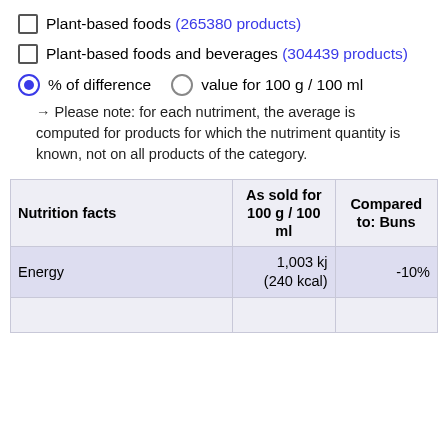□ Plant-based foods (265380 products)
□ Plant-based foods and beverages (304439 products)
● % of difference   ○ value for 100 g / 100 ml
→ Please note: for each nutriment, the average is computed for products for which the nutriment quantity is known, not on all products of the category.
| Nutrition facts | As sold for 100 g / 100 ml | Compared to: Buns |
| --- | --- | --- |
| Energy | 1,003 kj (240 kcal) | -10% |